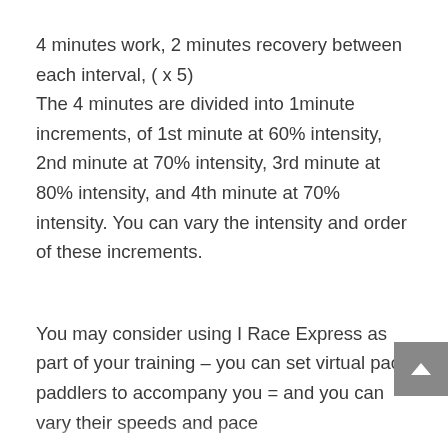4 minutes work, 2 minutes recovery between each interval, ( x 5) The 4 minutes are divided into 1minute increments, of 1st minute at 60% intensity, 2nd minute at 70% intensity, 3rd minute at 80% intensity, and 4th minute at 70% intensity. You can vary the intensity and order of these increments.
You may consider using I Race Express as part of your training – you can set virtual pace paddlers to accompany you = and you can vary their speeds and pace